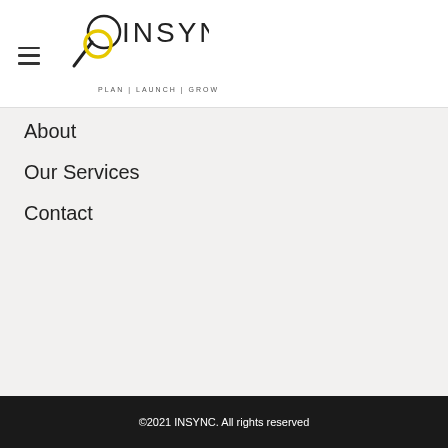[Figure (logo): INSYNC logo with magnifying glass icon and tagline PLAN | LAUNCH | GROW]
About
Our Services
Contact
©2021 INSYNC. All rights reserved